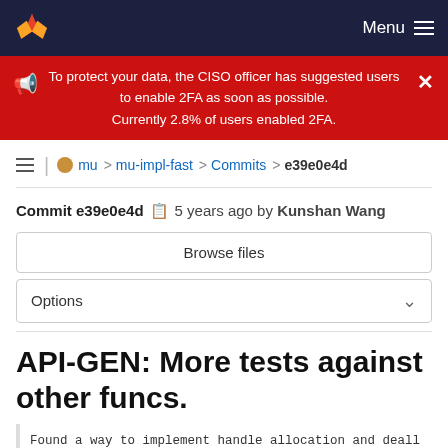GitLab navigation bar with logo and Menu
To protect your data, the CISO officer has suggested users to enable 2FA as soon as possible. Currently 2.8% of users enabled 2FA.
mu > mu-impl-fast > Commits > e39e0e4d
Commit e39e0e4d  5 years ago by Kunshan Wang
Browse files
Options
API-GEN: More tests against other funcs.
Found a way to implement handle allocation and deall to access MuVM from MuCtx using pointers.